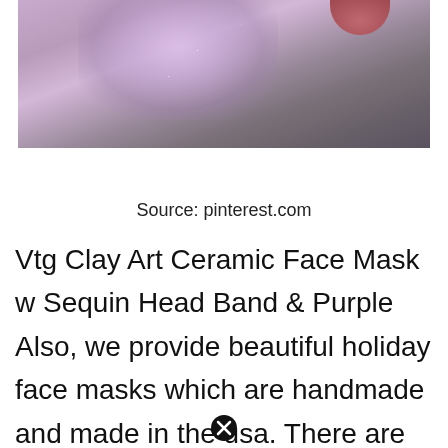[Figure (photo): Photograph of a ceramic face mask or doll wearing a sparkly lavender/purple sequin headband or bow, with visible lips, against a gray background. Cropped so only the top portion of the face and headband are visible.]
Source: pinterest.com
Vtg Clay Art Ceramic Face Mask w Sequin Head Band & Purple Also, we provide beautiful holiday face masks which are handmade and made in the usa. There are many christmas patterns available to chose from including ugly christmas sweater, candy canes, santa and friends, christmas